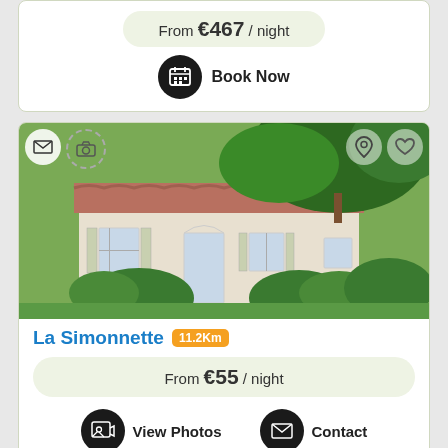From €467 / night
Book Now
[Figure (photo): Exterior photo of La Simonnette property, a white French country house with red tile roof surrounded by lush green trees and hedges]
La Simonnette 11.2Km
From €55 / night
View Photos
Contact